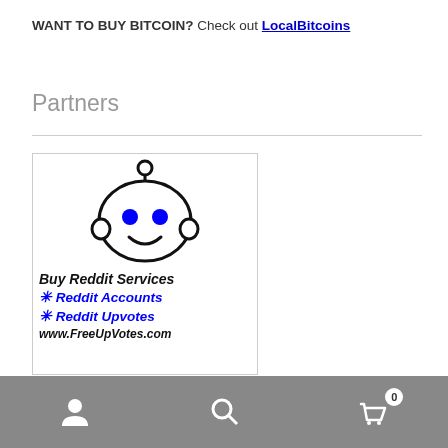WANT TO BUY BITCOIN? Check out LocalBitcoins
Partners
[Figure (illustration): Advertisement banner for FreeUpVotes.com showing Reddit alien mascot (Snoo) in black and white with blue eyes, text 'Buy Reddit Services', '✳ Reddit Accounts', '✳ Reddit Upvotes', 'www.FreeUpVotes.com']
User icon | Search icon | Cart icon with badge 0